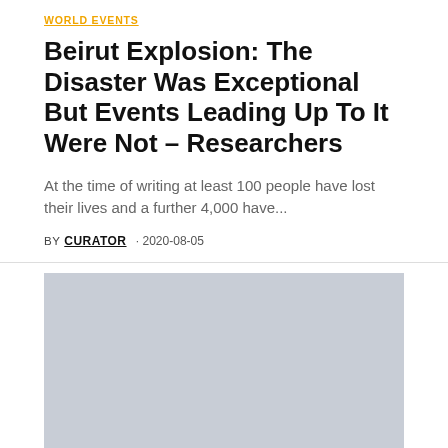WORLD EVENTS
Beirut Explosion: The Disaster Was Exceptional But Events Leading Up To It Were Not – Researchers
At the time of writing at least 100 people have lost their lives and a further 4,000 have...
BY CURATOR · 2020-08-05
[Figure (photo): Large grey placeholder image below the article header]